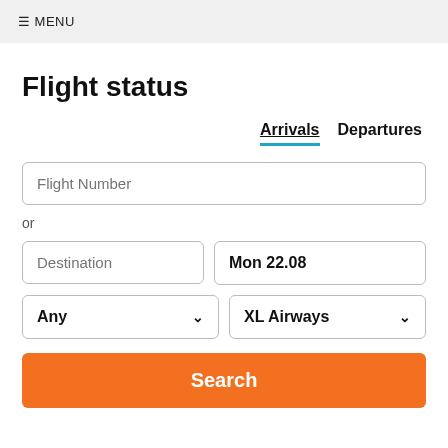≡ MENU
Flight status
Arrivals   Departures
Flight Number
or
Destination
Mon 22.08
Any
XL Airways
Search